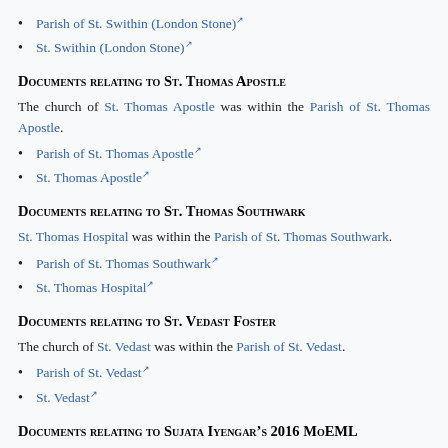Parish of St. Swithin (London Stone) [external link]
St. Swithin (London Stone) [external link]
Documents relating to St. Thomas Apostle
The church of St. Thomas Apostle was within the Parish of St. Thomas Apostle.
Parish of St. Thomas Apostle [external link]
St. Thomas Apostle [external link]
Documents relating to St. Thomas Southwark
St. Thomas Hospital was within the Parish of St. Thomas Southwark.
Parish of St. Thomas Southwark [external link]
St. Thomas Hospital [external link]
Documents relating to St. Vedast Foster
The church of St. Vedast was within the Parish of St. Vedast.
Parish of St. Vedast [external link]
St. Vedast [external link]
Documents relating to Sujata Iyengar’s 2016 MoEML